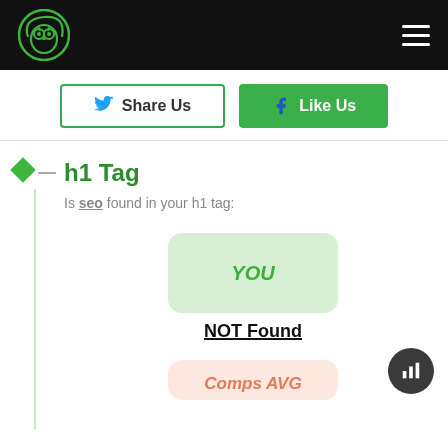[Figure (logo): Owl logo in green circle on black header bar with hamburger menu icon]
Share Us
Like Us
h1 Tag
Is seo found in your h1 tag:
YOU
NOT Found
Comps AVG